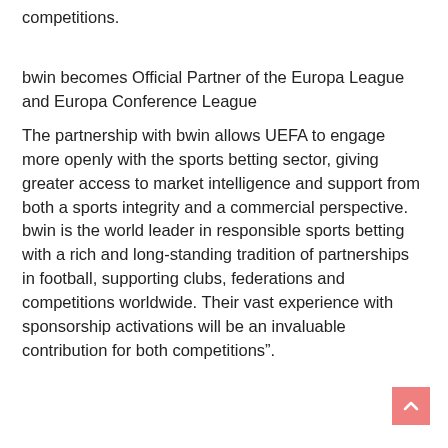competitions.
bwin becomes Official Partner of the Europa League and Europa Conference League
The partnership with bwin allows UEFA to engage more openly with the sports betting sector, giving greater access to market intelligence and support from both a sports integrity and a commercial perspective. bwin is the world leader in responsible sports betting with a rich and long-standing tradition of partnerships in football, supporting clubs, federations and competitions worldwide. Their vast experience with sponsorship activations will be an invaluable contribution for both competitions”.